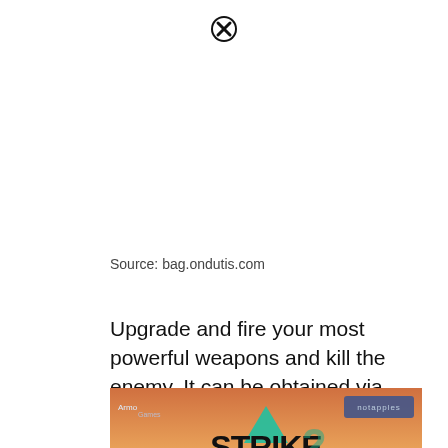[Figure (other): Close button (X in circle) at top center of page]
Source: bag.ondutis.com
Upgrade and fire your most powerful weapons and kill the enemy. It can be obtained via hacks.
[Figure (photo): Strike Force Heroes 2 game promotional image showing armored soldiers with game title logo, Armogames and notapples badges, and a close button overlay at the bottom center.]